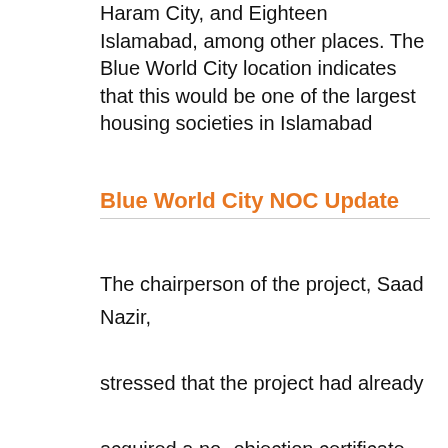Haram City, and Eighteen Islamabad, among other places. The Blue World City location indicates that this would be one of the largest housing societies in Islamabad
Blue World City NOC Update
The chairperson of the project, Saad Nazir, stressed that the project had already acquired a no- objection certificate from other departments such as Regulation NOC, Revenue NOC, and Water and...